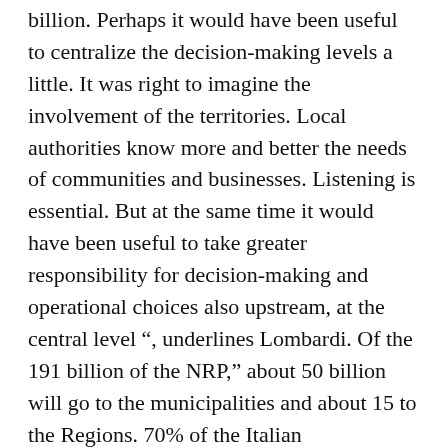billion. Perhaps it would have been useful to centralize the decision-making levels a little. It was right to imagine the involvement of the territories. Local authorities know more and better the needs of communities and businesses. Listening is essential. But at the same time it would have been useful to take greater responsibility for decision-making and operational choices also upstream, at the central level ", underlines Lombardi. Of the 191 billion of the NRP," about 50 billion will go to the municipalities and about 15 to the Regions. 70% of the Italian Municipalities has less than a thousand inhabitants and does not have adequate technical structures, capable of 'grounding' this amount of money, think of the preparation of projects or of the simple documentation for the completion of